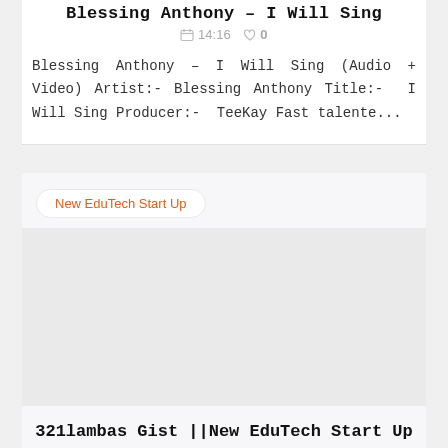Blessing Anthony – I Will Sing
14:16   0
Blessing Anthony – I Will Sing (Audio + Video) Artist:- Blessing Anthony Title:-  I Will Sing Producer:-  TeeKay Fast talente...
New EduTech Start Up
[Figure (photo): Blank/placeholder image area for 321lambas Gist article]
321lambas Gist ||New EduTech Start Up : Matinati Takes Nigeria By Storm